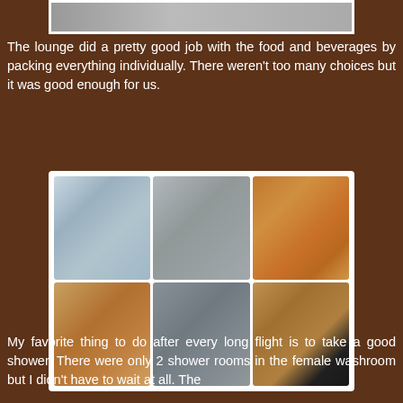[Figure (photo): Partial top photo strip of lounge food/beverages area]
The lounge did a pretty good job with the food and beverages by packing everything individually. There weren't too many choices but it was good enough for us.
[Figure (photo): Collage of 6 photos showing airport lounge shower rooms and washroom facilities: shower stall interior, shower corner, toiletry bottles, wooden door corridor, bathroom sinks counter, and a woman taking a mirror selfie]
My favorite thing to do after every long flight is to take a good shower. There were only 2 shower rooms in the female washroom but I didn't have to wait at all. The